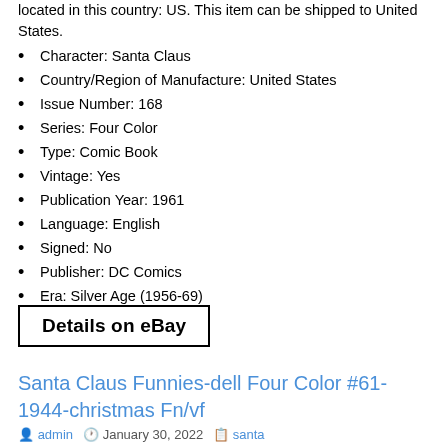located in this country: US. This item can be shipped to United States.
Character: Santa Claus
Country/Region of Manufacture: United States
Issue Number: 168
Series: Four Color
Type: Comic Book
Vintage: Yes
Publication Year: 1961
Language: English
Signed: No
Publisher: DC Comics
Era: Silver Age (1956-69)
Details on eBay
Santa Claus Funnies-dell Four Color #61-1944-christmas Fn/vf
admin   January 30, 2022   santa